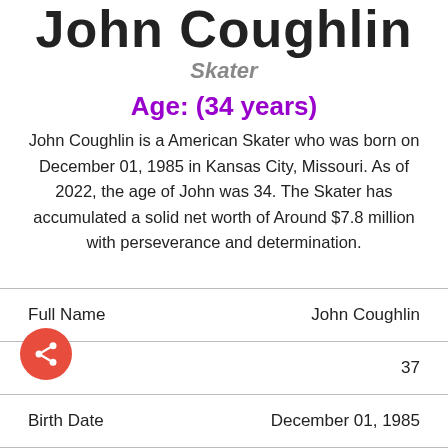John Coughlin
Skater
Age: (34 years)
John Coughlin is a American Skater who was born on December 01, 1985 in Kansas City, Missouri. As of 2022, the age of John was 34. The Skater has accumulated a solid net worth of Around $7.8 million with perseverance and determination.
|  |  |
| --- | --- |
| Full Name | John Coughlin |
| Age | 37 |
| Birth Date | December 01, 1985 |